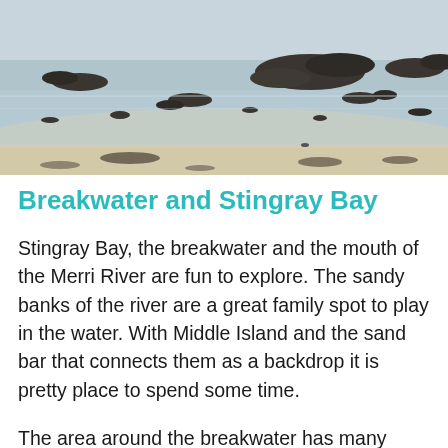[Figure (photo): Aerial or low-angle view of a beach and bay scene showing sandy shores, shallow water, and dark rocks scattered across the water surface. Middle Island and sandbar visible in background.]
Breakwater and Stingray Bay
Stingray Bay, the breakwater and the mouth of the Merri River are fun to explore. The sandy banks of the river are a great family spot to play in the water. With Middle Island and the sand bar that connects them as a backdrop it is pretty place to spend some time.
The area around the breakwater has many moods. It produces lovely sunrise and sunsets at many other places along the...